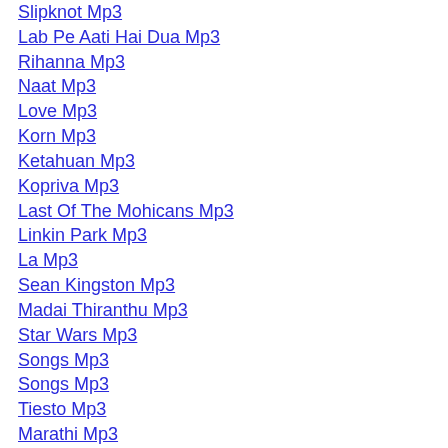Slipknot Mp3
Lab Pe Aati Hai Dua Mp3
Rihanna Mp3
Naat Mp3
Love Mp3
Korn Mp3
Ketahuan Mp3
Kopriva Mp3
Last Of The Mohicans Mp3
Linkin Park Mp3
La Mp3
Sean Kingston Mp3
Madai Thiranthu Mp3
Star Wars Mp3
Songs Mp3
Songs Mp3
Tiesto Mp3
Marathi Mp3
Soldiers Of Allah Mp3
2pac Mp3
Malayalam Mp3
Massari Mp3
Mahiya Mp3
Mahalaya Mp3
Love Story Mp3
Love Is Gone Mp3